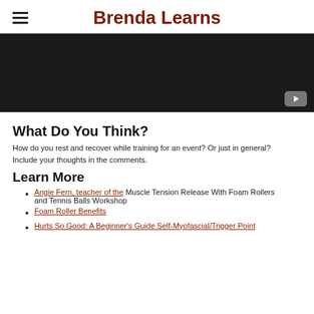Brenda Learns
[Figure (screenshot): Dark video thumbnail with YouTube play button in bottom-right corner]
What Do You Think?
How do you rest and recover while training for an event? Or just in general? Include your thoughts in the comments.
Learn More
Angie Fern, teacher of the Muscle Tension Release With Foam Rollers and Tennis Balls Workshop
Foam Roller Benefits
Hurts So Good: A Beginner's Guide Self-Myofascial/Trigger Point